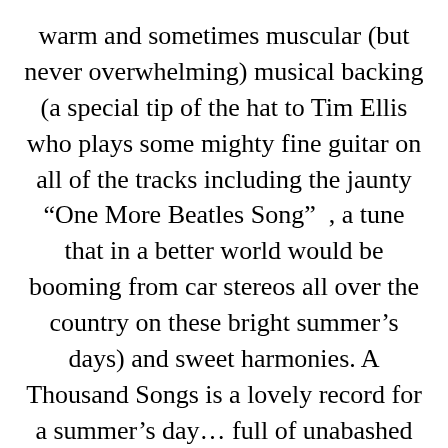warm and sometimes muscular (but never overwhelming) musical backing (a special tip of the hat to Tim Ellis who plays some mighty fine guitar on all of the tracks including the jaunty “One More Beatles Song” , a tune that in a better world would be booming from car stereos all over the country on these bright summer’s days) and sweet harmonies. A Thousand Songs is a lovely record for a summer’s day… full of unabashed and unapologetic love and passion, fun and wit, lovely melodies and heartfelt vocals… a lovely record anytime for